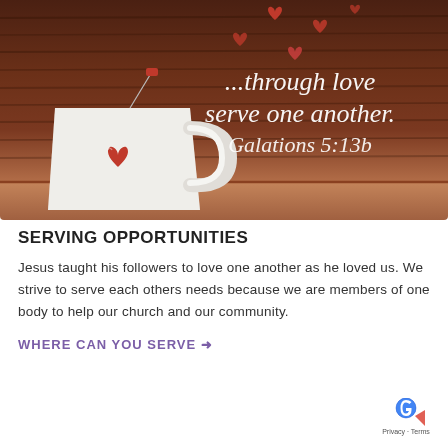[Figure (photo): Photo of a white coffee mug with a red heart teabag tag, on a wooden background, with small red paper hearts floating above. White italic text overlay reads '...through love serve one another. Galations 5:13b']
SERVING OPPORTUNITIES
Jesus taught his followers to love one another as he loved us. We strive to serve each others needs because we are members of one body to help our church and our community.
WHERE CAN YOU SERVE →